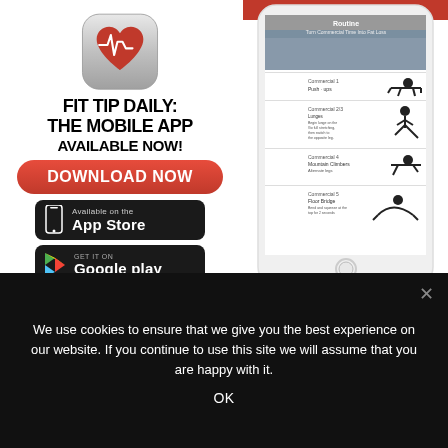[Figure (screenshot): App icon with heart rate monitor graphic on silver/metallic rounded square background]
FIT TIP DAILY: THE MOBILE APP AVAILABLE NOW!
[Figure (illustration): Red pill-shaped DOWNLOAD NOW button]
[Figure (illustration): Black App Store download button with phone icon]
[Figure (illustration): Black Google Play download button with triangle play icon]
[Figure (screenshot): Phone mockup showing a fitness workout routine app screen with exercise illustrations]
We use cookies to ensure that we give you the best experience on our website. If you continue to use this site we will assume that you are happy with it.
OK